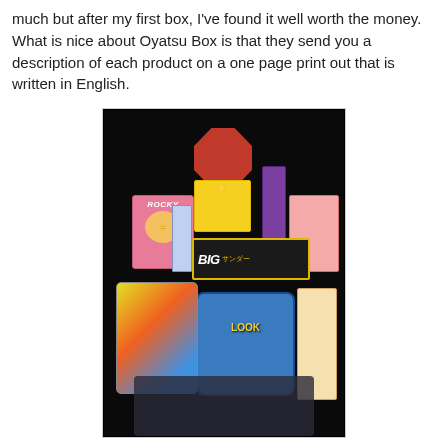much but after my first box, I've found it well worth the money.  What is nice about Oyatsu Box is that they send you a description of each product on a one page print out that is written in English.
[Figure (photo): A dark photo showing various Japanese candy and snack products laid out on a dark surface, including a Rocky box, a red octagonal package, a Pikachu-themed box, a Big Thunder bar, a blue bag, colorful snack bags, and other Japanese snack packages.]